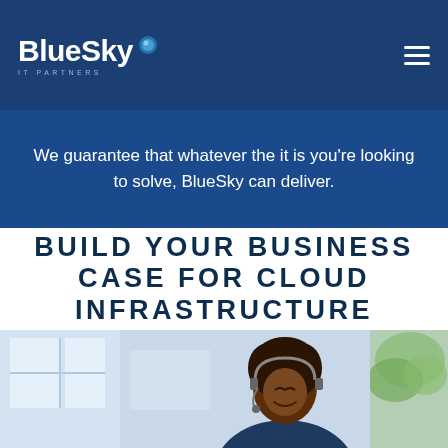BlueSky IT PARTNERS
We guarantee that whatever the it is you're looking to solve, BlueSky can deliver.
BUILD YOUR BUSINESS CASE FOR CLOUD INFRASTRUCTURE
[Figure (photo): A smiling woman wearing a headset, in an office environment with windows and greenery in the background]